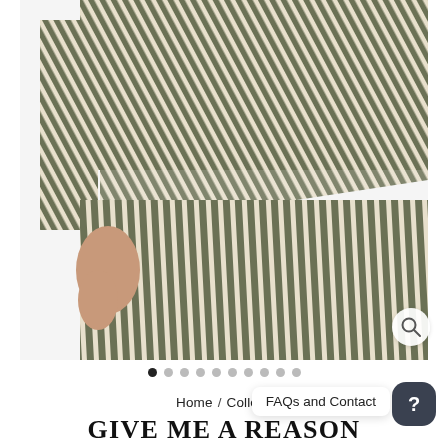[Figure (photo): A person wearing an olive green and white striped two-piece outfit (long-sleeve top and skirt), photographed from mid-torso down on a white background.]
Home / Collecti
FAQs and Contact
GIVE ME A REASON